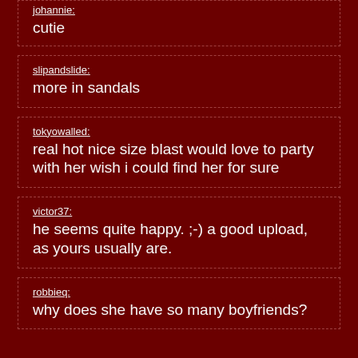johannie: cutie
slipandslide: more in sandals
tokyowalled: real hot nice size blast would love to party with her wish i could find her for sure
victor37: he seems quite happy. ;-) a good upload, as yours usually are.
robbieq: why does she have so many boyfriends?